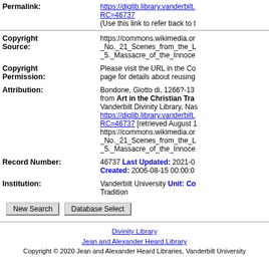| Permalink: | https://diglib.library.vanderbilt.c...RC=46737
(Use this link to refer back to t |
| Copyright Source: | https://commons.wikimedia.or..._No._21_Scenes_from_the_L..._5._Massacre_of_the_Innoce... |
| Copyright Permission: | Please visit the URL in the Co... page for details about reusing |
| Attribution: | Bondone, Giotto di, 1266?-13... from Art in the Christian Tra... Vanderbilt Divinity Library, Nas... https://diglib.library.vanderbilt.... RC=46737 [retrieved August 1... https://commons.wikimedia.or..._No._21_Scenes_from_the_L..._5._Massacre_of_the_Innoce... |
| Record Number: | 46737 Last Updated: 2021-0... Created: 2006-08-15 00:00:0... |
| Institution: | Vanderbilt University Unit: Co... Tradition |
New Search | Database Select
Divinity Library
Jean and Alexander Heard Library
Copyright © 2020 Jean and Alexander Heard Libraries, Vanderbilt University